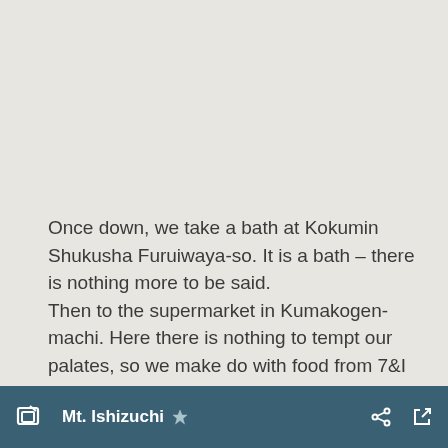Once down, we take a bath at Kokumin Shukusha Furuiwaya-so. It is a bath – there is nothing more to be said.
Then to the supermarket in Kumakogen-machi. Here there is nothing to tempt our palates, so we make do with food from 7&I and return to Tenku no sato Sansan.
Furuiwaya-so onsen ; 400 yen /adult
[Figure (screenshot): Dark teal navigation bar at the bottom showing 'Mt. Ishizuchi' with a star icon, share icon, and expand icon]